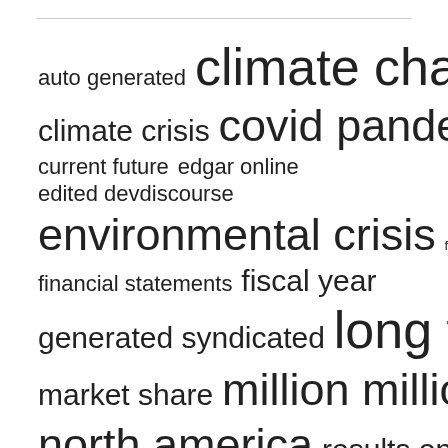[Figure (infographic): Word cloud containing terms of varying font sizes representing frequency/importance: 'climate change' (largest), 'environmental crisis', 'long term', 'covid pandemic', 'north america', 'million million', 'fiscal year', 'financial statements', 'results operations', 'story edited', 'study published', 'supply chain', 'syndicated feed', 'market share', 'generated syndicated', 'auto generated', 'climate crisis', 'current future', 'edgar online', 'edited devdiscourse', 'financial condition' (smallest)]